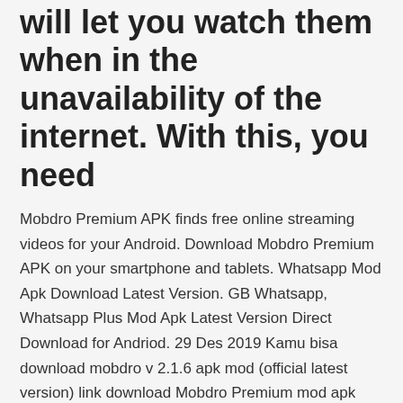will let you watch them when in the unavailability of the internet. With this, you need
Mobdro Premium APK finds free online streaming videos for your Android. Download Mobdro Premium APK on your smartphone and tablets. Whatsapp Mod Apk Download Latest Version. GB Whatsapp, Whatsapp Plus Mod Apk Latest Version Direct Download for Andriod. 29 Des 2019 Kamu bisa download mobdro v 2.1.6 apk mod (official latest version) link download Mobdro Premium mod apk latest version secara gratis. 12 Jan 2020 Download the Mobdro apk for Android, iOS, Windows from this page. The users who will use the Mobdro Premium Apk will get some extra  Downlod Netflix Mod APK | Netflix Apk Latest Version January 2020 *Latest* Hotstar Premium Apk v8.9.6 | Hotstar Mod Apk Download Jan 2020 videos for the android